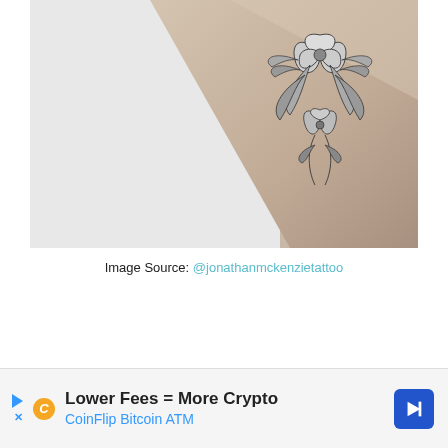[Figure (photo): Close-up photo of a forearm with a fine-line floral tattoo featuring flowers and leaves in black ink, on a light beige/skin background with a white surface visible.]
Image Source: @jonathanmckenzietattoo
[Figure (infographic): Advertisement banner: Lower Fees = More Crypto — CoinFlip Bitcoin ATM, with play button icon, letter C icon, and blue diamond arrow icon.]